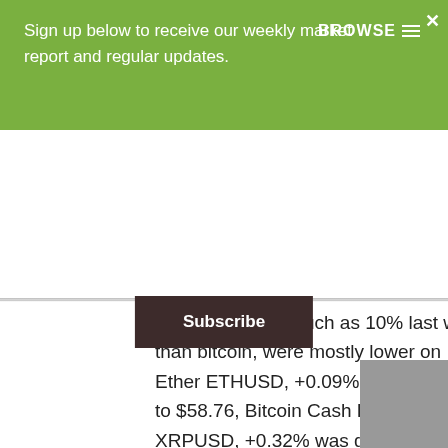Sign up below to receive our weekly market report and regular updates.
BROWSE
Subscribe
After adding as much as 10% last week, major altcoins, cryptocurrencies other than bitcoin, were mostly lower on Monday. Ether ETHUSD, +0.09%  fell 1.4% to $137.02, Litecoin LTCUSD, -0.24% lost 2.8% to $58.76, Bitcoin Cash BCHUSD, -1.01% added 3.2% to $160.60 and XRP XRPUSD, +0.32% was down 1% at 31 cents.